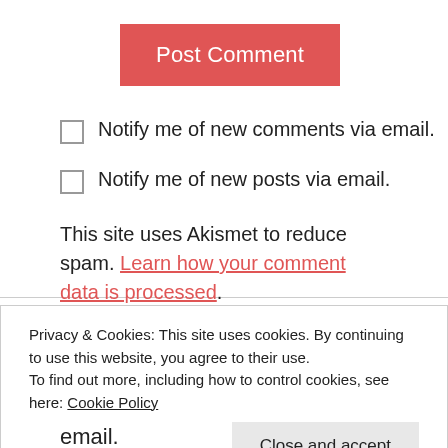Post Comment
Notify me of new comments via email.
Notify me of new posts via email.
This site uses Akismet to reduce spam. Learn how your comment data is processed.
Privacy & Cookies: This site uses cookies. By continuing to use this website, you agree to their use.
To find out more, including how to control cookies, see here: Cookie Policy
Close and accept
email.